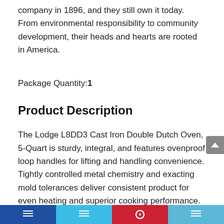company in 1896, and they still own it today. From environmental responsibility to community development, their heads and hearts are rooted in America.
Package Quantity: 1
Product Description
The Lodge L8DD3 Cast Iron Double Dutch Oven, 5-Quart is sturdy, integral, and features ovenproof loop handles for lifting and handling convenience. Tightly controlled metal chemistry and exacting mold tolerances deliver consistent product for even heating and superior cooking performance.
Social share bar